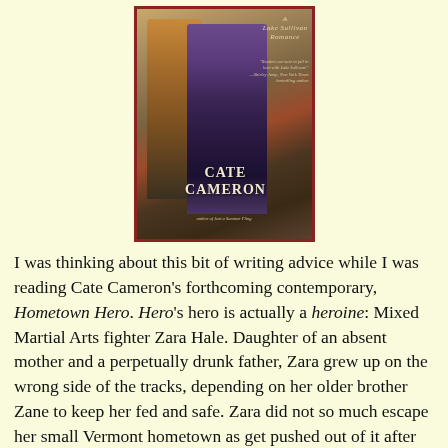[Figure (photo): Book cover for a Lake Sullivan Romance by Cate Cameron, author of Just a Summer Fling. Shows two figures embracing outdoors. Quote: 'Readers are sure to fall in love with Lake Sullivan!' — Shirley Jump, New York Times bestselling author.]
I was thinking about this bit of writing advice while I was reading Cate Cameron's forthcoming contemporary, Hometown Hero. Hero's hero is actually a heroine: Mixed Martial Arts fighter Zara Hale. Daughter of an absent mother and a perpetually drunk father, Zara grew up on the wrong side of the tracks, depending on her older brother Zane to keep her fed and safe. Zara did not so much escape her small Vermont hometown as get pushed out of it after Zane suffered a mental breakdown and went on a drug-induced crime spree, a spree that landed him in prison. Sent off to live with an aunt in New York, tough-girl Zara found solace, and then a career, in the local gym and in MMA.
[Figure (photo): Partial image at the bottom left, appears to show an outdoor scene, possibly a road or pathway.]
Now, ten years later, Zara's